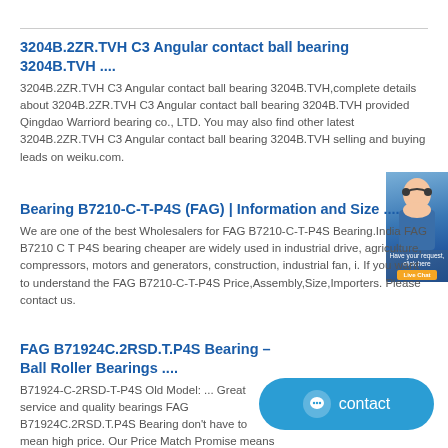3204B.2ZR.TVH C3 Angular contact ball bearing 3204B.TVH ....
3204B.2ZR.TVH C3 Angular contact ball bearing 3204B.TVH,complete details about 3204B.2ZR.TVH C3 Angular contact ball bearing 3204B.TVH provided Qingdao Warriord bearing co., LTD. You may also find other latest 3204B.2ZR.TVH C3 Angular contact ball bearing 3204B.TVH selling and buying leads on weiku.com.
Bearing B7210-C-T-P4S (FAG) | Information and Size ....
We are one of the best Wholesalers for FAG B7210-C-T-P4S Bearing.India FAG B7210 C T P4S bearing cheaper are widely used in industrial drive, agriculture, compressors, motors and generators, construction, industrial fan, i. If you want to understand the FAG B7210-C-T-P4S Price,Assembly,Size,Importers. Please contact us.
FAG B71924C.2RSD.T.P4S Bearing – Ball Roller Bearings ....
B71924-C-2RSD-T-P4S Old Model: ... Great service and quality bearings FAG B71924C.2RSD.T.P4S Bearing don't have to mean high price. Our Price Match Promise means that if you find any of our products at a cheaper price, we guarantee to match it. About Us.